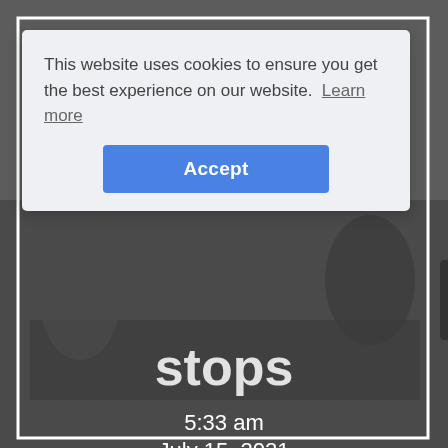[Figure (screenshot): A website screenshot showing a cookie consent banner overlaid on a dark background photo of people at a meeting table celebrating/fist-bumping. The background shows a white-bordered content area. Partially visible behind the cookie banner is large bold text ending in 'stops', and below it shows '5:33 am' and 'July 15, 2021' timestamps, and a 'cogent infotech' logo at the bottom.]
This website uses cookies to ensure you get the best experience on our website.  Learn more
Accept
stops
5:33 am
July 15, 2021
cogent infotech